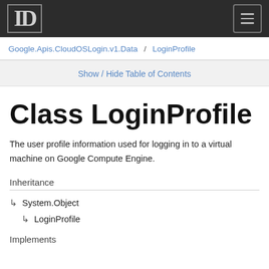D [logo] [hamburger menu]
Google.Apis.CloudOSLogin.v1.Data / LoginProfile
Show / Hide Table of Contents
Class LoginProfile
The user profile information used for logging in to a virtual machine on Google Compute Engine.
Inheritance
↳ System.Object
↳ LoginProfile
Implements